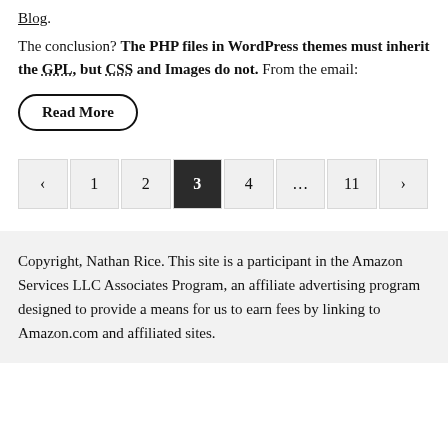Blog.
The conclusion? The PHP files in WordPress themes must inherit the GPL, but CSS and Images do not. From the email:
Read More
< 1 2 3 4 ... 11 >
Copyright, Nathan Rice. This site is a participant in the Amazon Services LLC Associates Program, an affiliate advertising program designed to provide a means for us to earn fees by linking to Amazon.com and affiliated sites.